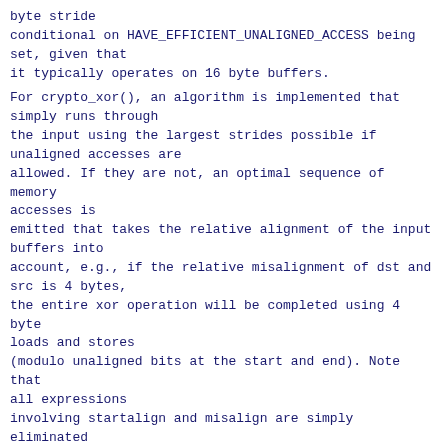byte stride
conditional on HAVE_EFFICIENT_UNALIGNED_ACCESS being set, given that
it typically operates on 16 byte buffers.
For crypto_xor(), an algorithm is implemented that simply runs through
the input using the largest strides possible if unaligned accesses are
allowed. If they are not, an optimal sequence of memory accesses is
emitted that takes the relative alignment of the input buffers into
account, e.g., if the relative misalignment of dst and src is 4 bytes,
the entire xor operation will be completed using 4 byte loads and stores
(modulo unaligned bits at the start and end). Note that all expressions
involving startalign and misalign are simply eliminated by the compiler
if HAVE_EFFICIENT_UNALIGNED_ACCESS is defined.
Signed-off-by: Ard Biesheuvel
<ard.biesheuvel@linaro.org>
---
crypto/algapi.c | 102 ++++++++++++++++----
 crypto/cbc.c    |   3 -
 crypto/cmac.c   |   3 +-
 crypto/ctr.c    |   2 +-